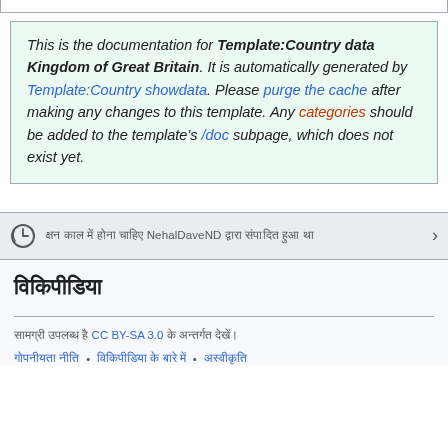This is the documentation for Template:Country data Kingdom of Great Britain. It is automatically generated by Template:Country showdata. Please purge the cache after making any changes to this template. Any categories should be added to the template's /doc subpage, which does not exist yet.
[clock icon] [Hindi text] NehalDaveND [Hindi text] >
विकिपीडिया
[Hindi text] CC BY-SA 3.0 [Hindi text]
[Hindi link] • [Hindi link] • [Hindi link]